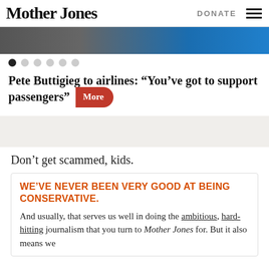Mother Jones | DONATE
[Figure (photo): Partial hero image strip showing gray and blue tones, partially visible photograph]
[Figure (other): Carousel navigation dots, first dot filled/active, five more empty dots]
Pete Buttigieg to airlines: “You’ve got to support passengers”
Don’t get scammed, kids.
WE’VE NEVER BEEN VERY GOOD AT BEING CONSERVATIVE.
And usually, that serves us well in doing the ambitious, hard-hitting journalism that you turn to Mother Jones for. But it also means we